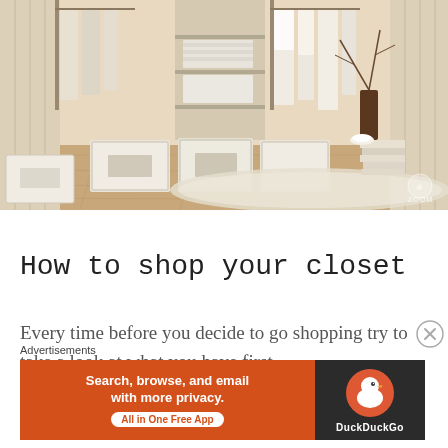[Figure (photo): A well-organized walk-in closet with cream/beige tones, hanging clothes on rails, shelving units with folded items, storage boxes on the floor, a light area rug, and a vase with branches on the right side. A ZOOM overlay icon appears in the bottom right corner of the photo.]
How to shop your closet
Every time before you decide to go shopping try to take a look at what you have first,
Advertisements
[Figure (screenshot): DuckDuckGo advertisement banner: orange left section with text 'Search, browse, and email with more privacy. All in One Free App' and dark right section with DuckDuckGo duck logo and text 'DuckDuckGo'.]